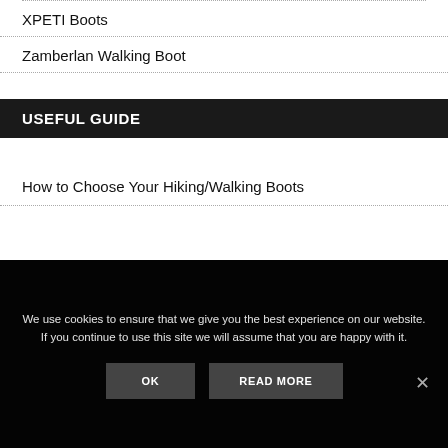XPETI Boots
Zamberlan Walking Boot
USEFUL GUIDE
How to Choose Your Hiking/Walking Boots
We use cookies to ensure that we give you the best experience on our website. If you continue to use this site we will assume that you are happy with it.